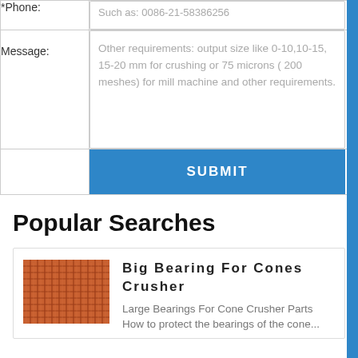| *Phone: | Such as: 0086-21-58386256 |
| Message: | Other requirements: output size like 0-10,10-15, 15-20 mm for crushing or 75 microns ( 200 meshes) for mill machine and other requirements. |
|  | SUBMIT |
Popular Searches
[Figure (photo): Mesh/grid texture photograph of cone crusher bearing component, reddish-brown metallic mesh]
Big Bearing For Cones Crusher
Large Bearings For Cone Crusher Parts
How to protect the bearings of the cone...